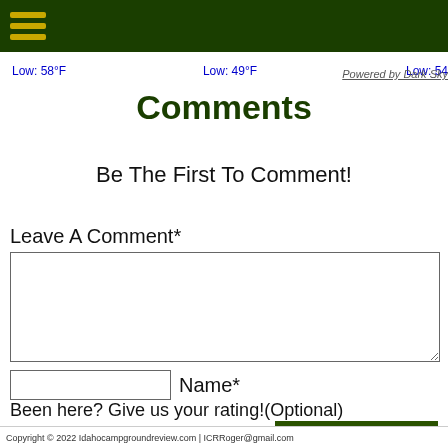[Navigation menu bar with hamburger icon]
Low: 58°F   Low: 49°F   Low: 54
Powered by Dark Sky
Comments
Be The First To Comment!
Leave A Comment*
[Comment textarea]
[Name input field]  Name*
Been here? Give us your rating!(Optional)
Post Comment
Copyright © 2022 Idahocampgroundreview.com | ICRRoger@gmail.com